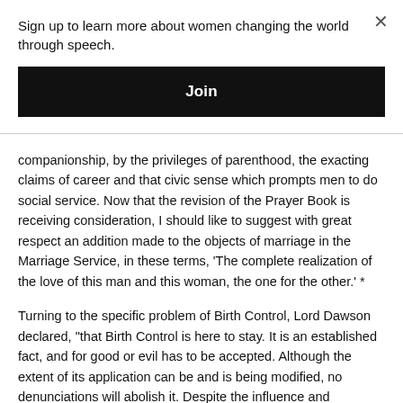Sign up to learn more about women changing the world through speech.
Join
companionship, by the privileges of parenthood, the exacting claims of career and that civic sense which prompts men to do social service. Now that the revision of the Prayer Book is receiving consideration, I should like to suggest with great respect an addition made to the objects of marriage in the Marriage Service, in these terms, 'The complete realization of the love of this man and this woman, the one for the other.' *
Turning to the specific problem of Birth Control, Lord Dawson declared, "that Birth Control is here to stay. It is an established fact, and for good or evil has to be accepted. Although the extent of its application can be and is being modified, no denunciations will abolish it. Despite the influence and